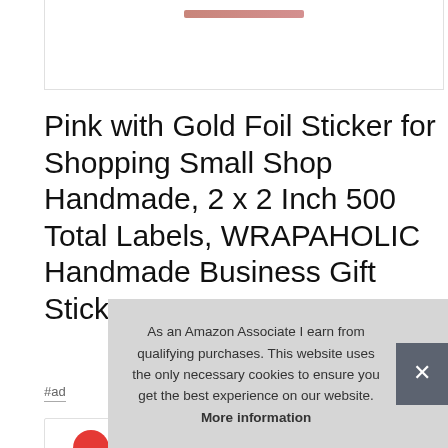[Figure (photo): Partial product image at the top of the page, showing bottom edge of a product photo inside a white card with border]
Pink with Gold Foil Sticker for Shopping Small Shop Handmade, 2 x 2 Inch 500 Total Labels, WRAPAHOLIC Handmade Business Gift Sticker
#ad
[Figure (photo): Row of product thumbnail images partially visible at the bottom of the page]
As an Amazon Associate I earn from qualifying purchases. This website uses the only necessary cookies to ensure you get the best experience on our website. More information